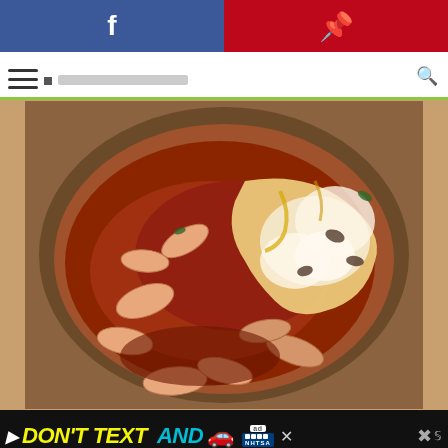[Figure (other): Social sharing bar with Facebook (blue) and Pinterest (red) buttons]
[Figure (other): Website navigation bar with hamburger menu icon and search icon, with green underline]
[Figure (photo): Photo of a cooked shrimp dish in a red/tomato sauce with melted cheese in a round pan or pot, viewed from above]
[Figure (other): Advertisement banner at bottom: black background with 'DON'T TEXT AND' in yellow and cyan, red car emoji, ad badge with NHTSA logo, and close/dismiss icons]